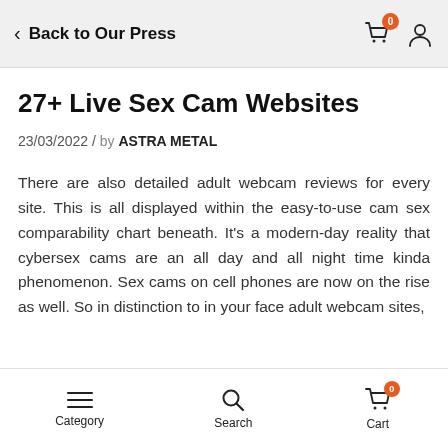Back to Our Press
27+ Live Sex Cam Websites
23/03/2022 / by ASTRA METAL
There are also detailed adult webcam reviews for every site. This is all displayed within the easy-to-use cam sex comparability chart beneath. It's a modern-day reality that cybersex cams are an all day and all night time kinda phenomenon. Sex cams on cell phones are now on the rise as well. So in distinction to in your face adult webcam sites,
Category  Search  Cart